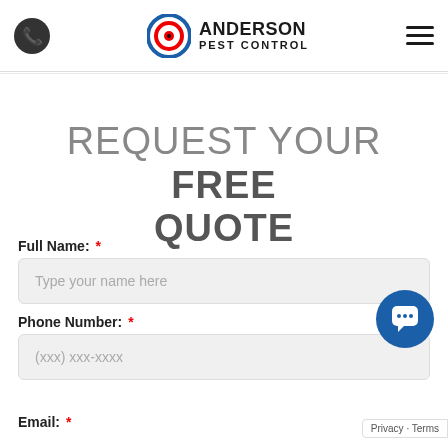Anderson Pest Control — navigation header with phone icon and hamburger menu
REQUEST YOUR FREE QUOTE
Full Name: *
Type your name here
Phone Number: *
(XXX) XXX-XXXX
Email: *